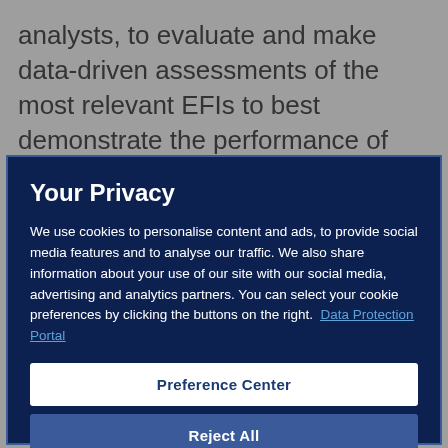analysts, to evaluate and make data-driven assessments of the most relevant EFIs to best demonstrate the performance of the teams during each
Your Privacy
We use cookies to personalise content and ads, to provide social media features and to analyse our traffic. We also share information about your use of our site with our social media, advertising and analytics partners. You can select your cookie preferences by clicking the buttons on the right.  Data Protection Portal
Preference Center
Reject All
I'm OK with that